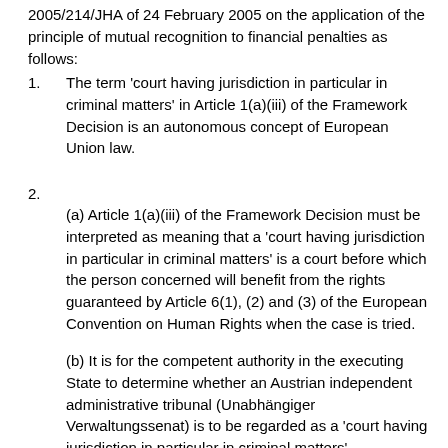2005/214/JHA of 24 February 2005 on the application of the principle of mutual recognition to financial penalties as follows:
1. The term ‘court having jurisdiction in particular in criminal matters’ in Article 1(a)(iii) of the Framework Decision is an autonomous concept of European Union law.
2.
(a) Article 1(a)(iii) of the Framework Decision must be interpreted as meaning that a ‘court having jurisdiction in particular in criminal matters’ is a court before which the person concerned will benefit from the rights guaranteed by Article 6(1), (2) and (3) of the European Convention on Human Rights when the case is tried.
(b) It is for the competent authority in the executing State to determine whether an Austrian independent administrative tribunal (Unabhängiger Verwaltungssenat) is to be regarded as a ‘court having jurisdiction in particular in criminal matters’